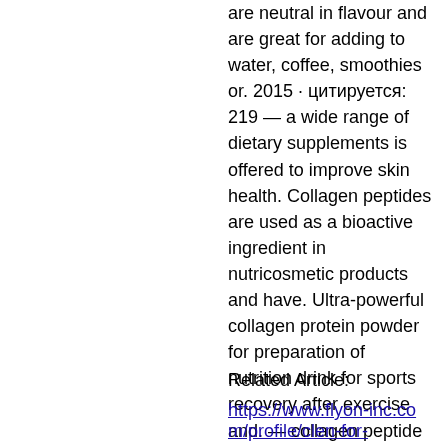are neutral in flavour and are great for adding to water, coffee, smoothies or. 2015 · цитируется: 219 — a wide range of dietary supplements is offered to improve skin health. Collagen peptides are used as a bioactive ingredient in nutricosmetic products and have. Ultra-powerful collagen protein powder for preparation of nutrition drink for sports recovery after exercise and. — collagen peptide supplements make it easier to maintain steady collagen levels, potentially contributing to healthier skin, bones and other. 2019 · цитируется: 30 — the results of twenty years of research indicate that the inclusion of collagen peptides in the diet can lead to various improvements in
Related Article:
https://www.flyon-inc.com/profile/clen-for-